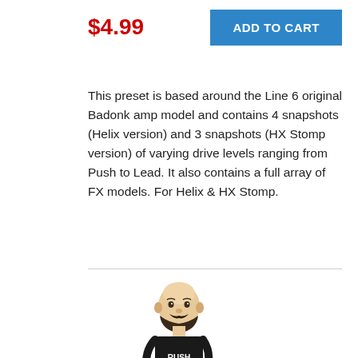$4.99
ADD TO CART
This preset is based around the Line 6 original Badonk amp model and contains 4 snapshots (Helix version) and 3 snapshots (HX Stomp version) of varying drive levels ranging from Push to Lead. It also contains a full array of FX models. For Helix & HX Stomp.
[Figure (illustration): Cartoon bobblehead avatar of a bald man with a beard wearing a RUSH t-shirt and holding a guitar]
Line 6 Helix - Jason Sadites